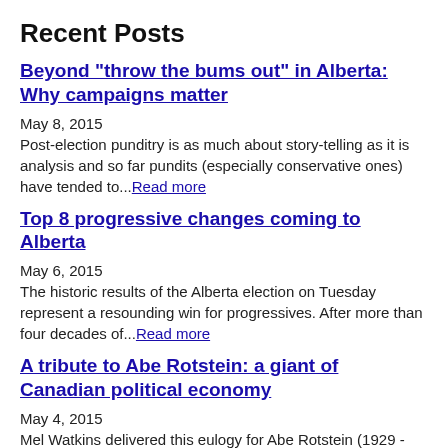Recent Posts
Beyond "throw the bums out" in Alberta: Why campaigns matter
May 8, 2015
Post-election punditry is as much about story-telling as it is analysis and so far pundits (especially conservative ones) have tended to...Read more
Top 8 progressive changes coming to Alberta
May 6, 2015
The historic results of the Alberta election on Tuesday represent a resounding win for progressives. After more than four decades of...Read more
A tribute to Abe Rotstein: a giant of Canadian political economy
May 4, 2015
Mel Watkins delivered this eulogy for Abe Rotstein (1929 - 2015)